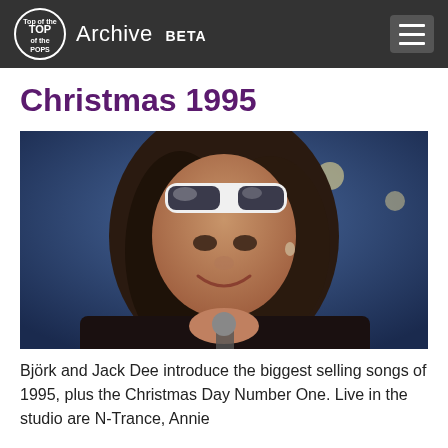Top of the Pops Archive BETA
Christmas 1995
[Figure (photo): A woman with long dark wavy hair and white-framed sunglasses on her head, smiling and holding a microphone on a TV studio stage with blue lighting.]
Björk and Jack Dee introduce the biggest selling songs of 1995, plus the Christmas Day Number One. Live in the studio are N-Trance, Annie